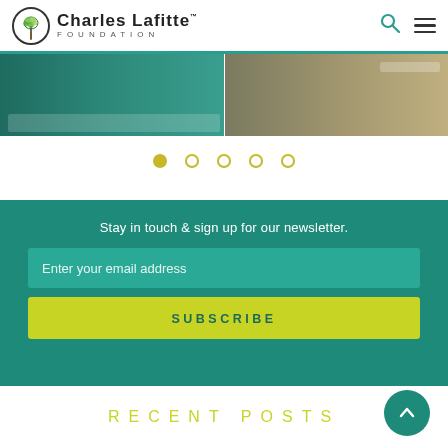Charles Lafitte Foundation
[Figure (photo): Two side-by-side cropped images from a presentation or event; left shows teal/green background with partial view of people and papers; right shows lighter tones, likely another scene from the same event.]
[Figure (infographic): Carousel navigation dots: one filled yellow-green dot and four unfilled circle dots in a row, indicating a 5-slide image carousel with the first slide active.]
Stay in touch & sign up for our newsletter.
Enter your email address
SUBSCRIBE
RECENT POSTS